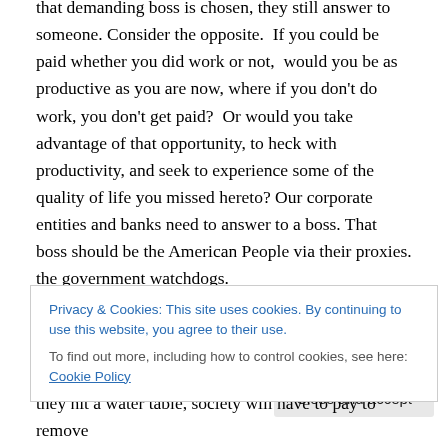that demanding boss is chosen, they still answer to someone. Consider the opposite. If you could be paid whether you did work or not, would you be as productive as you are now, where if you don't do work, you don't get paid? Or would you take advantage of that opportunity, to heck with productivity, and seek to experience some of the quality of life you missed hereto? Our corporate entities and banks need to answer to a boss. That boss should be the American People via their proxies. the government watchdogs.
Those record breaking Corporate profits which are
Privacy & Cookies: This site uses cookies. By continuing to use this website, you agree to their use.
To find out more, including how to control cookies, see here: Cookie Policy
they hit a water table, society will have to pay to remove